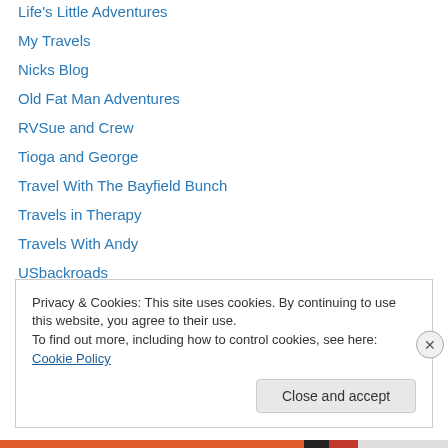Life's Little Adventures
My Travels
Nicks Blog
Old Fat Man Adventures
RVSue and Crew
Tioga and George
Travel With The Bayfield Bunch
Travels in Therapy
Travels With Andy
USbackroads
Wish You Were Here!
Privacy & Cookies: This site uses cookies. By continuing to use this website, you agree to their use. To find out more, including how to control cookies, see here: Cookie Policy
Close and accept